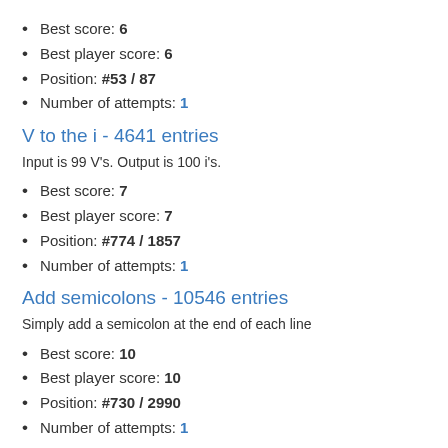Best score: 6
Best player score: 6
Position: #53 / 87
Number of attempts: 1
V to the i - 4641 entries
Input is 99 V's. Output is 100 i's.
Best score: 7
Best player score: 7
Position: #774 / 1857
Number of attempts: 1
Add semicolons - 10546 entries
Simply add a semicolon at the end of each line
Best score: 10
Best player score: 10
Position: #730 / 2990
Number of attempts: 1